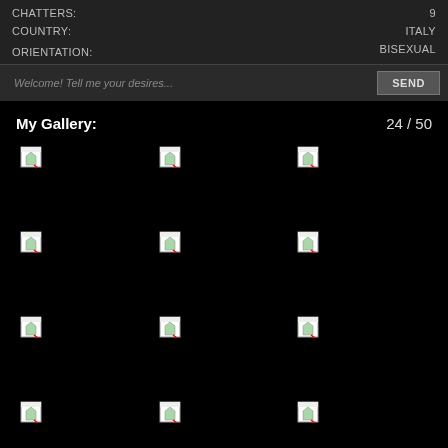CHATTERS: 9
COUNTRY: ITALY
ORIENTATION: BISEXUAL
Welcome! Tell me your desires...
SEND
My Gallery:
24 / 50
[Figure (other): Gallery grid of 12 broken image thumbnails arranged in 4 rows of 3 columns]